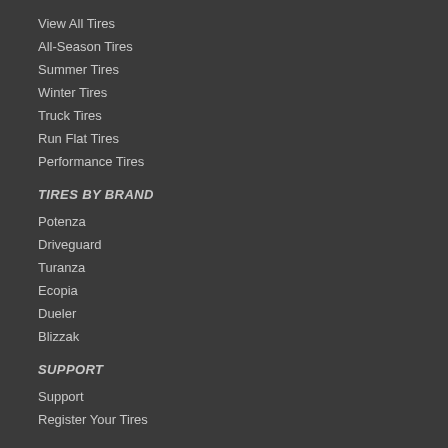View All Tires
All-Season Tires
Summer Tires
Winter Tires
Truck Tires
Run Flat Tires
Performance Tires
TIRES BY BRAND
Potenza
Driveguard
Turanza
Ecopia
Dueler
Blizzak
SUPPORT
Support
Register Your Tires